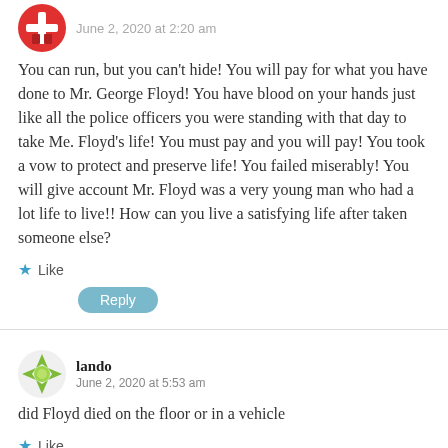June 2, 2020 at 2:20 am
You can run, but you can't hide! You will pay for what you have done to Mr. George Floyd! You have blood on your hands just like all the police officers you were standing with that day to take Me. Floyd's life! You must pay and you will pay! You took a vow to protect and preserve life! You failed miserably! You will give account Mr. Floyd was a very young man who had a lot life to live!! How can you live a satisfying life after taken someone else?
Like
Reply
lando
June 2, 2020 at 5:53 am
did Floyd died on the floor or in a vehicle
Like
Reply